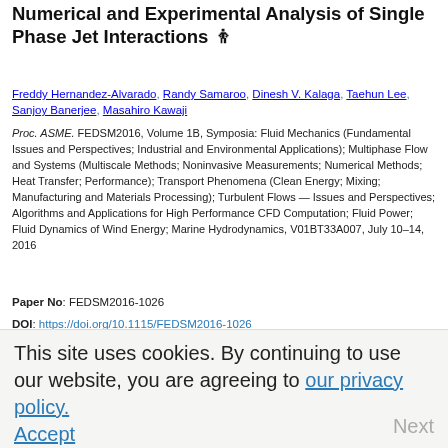Numerical and Experimental Analysis of Single Phase Jet Interactions
Freddy Hernandez-Alvarado, Randy Samaroo, Dinesh V. Kalaga, Taehun Lee, Sanjoy Banerjee, Masahiro Kawaji
Proc. ASME. FEDSM2016, Volume 1B, Symposia: Fluid Mechanics (Fundamental Issues and Perspectives; Industrial and Environmental Applications); Multiphase Flow and Systems (Multiscale Methods; Noninvasive Measurements; Numerical Methods; Heat Transfer; Performance); Transport Phenomena (Clean Energy; Mixing; Manufacturing and Materials Processing); Turbulent Flows — Issues and Perspectives; Algorithms and Applications for High Performance CFD Computation; Fluid Power; Fluid Dynamics of Wind Energy; Marine Hydrodynamics, V01BT33A007, July 10–14, 2016
Paper No: FEDSM2016-1026
DOI: https://doi.org/10.1115/FEDSM2016-1026
Abstract  View Paper  PDF
Topics: Computational fluid dynamics, Engineering simulation, Experimental analysis, Flow (Dynamics), Heat, Jet propulsion, Jets
This site uses cookies. By continuing to use our website, you are agreeing to our privacy policy. Accept